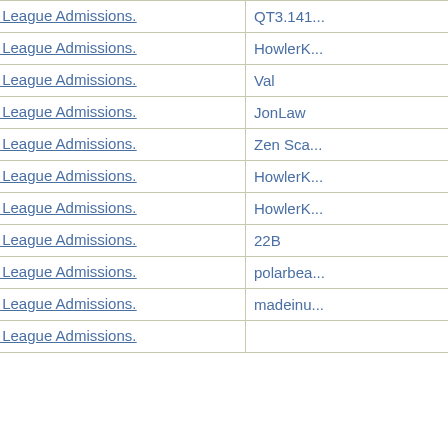| Subject | Author |
| --- | --- |
| Re: Ivy League Admissions. | QT3.141... |
| Re: Ivy League Admissions. | HowlerK... |
| Re: Ivy League Admissions. | Val |
| Re: Ivy League Admissions. | JonLaw |
| Re: Ivy League Admissions. | Zen Sca... |
| Re: Ivy League Admissions. | HowlerK... |
| Re: Ivy League Admissions. | HowlerK... |
| Re: Ivy League Admissions. | 22B |
| Re: Ivy League Admissions. | polarbea... |
| Re: Ivy League Admissions. | madeinu... |
| Re: Ivy League Admissions. | ... |